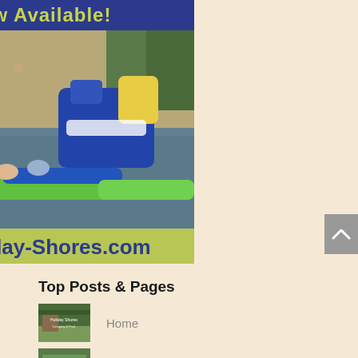[Figure (photo): Photo of Holiday Shores campground beach and lake with inflatable water park attractions, people swimming and relaxing. Banner at top reads 'Now Available!' and bottom bar shows holiday shores logo and 'Holiday-Shores.com']
Top Posts & Pages
[Figure (photo): Small thumbnail image of Holiday Shores campground]
Home
[Figure (photo): Small thumbnail image of campground trees]
Seasonal Camping